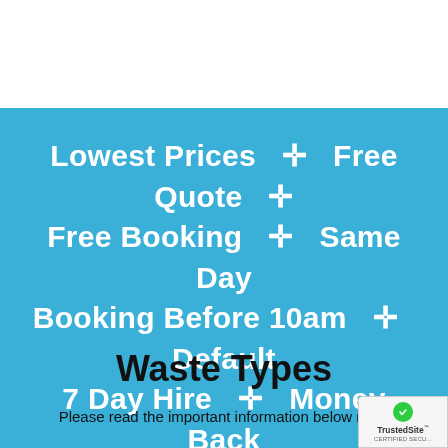Lowest Prices ✛ Free Quote ✛ Free Booking ✛ Same Day Booking Before 10am ✛ Default 7 Day Hire ✛ Money Back Guarantee
Waste Types
Please read the important information below r...